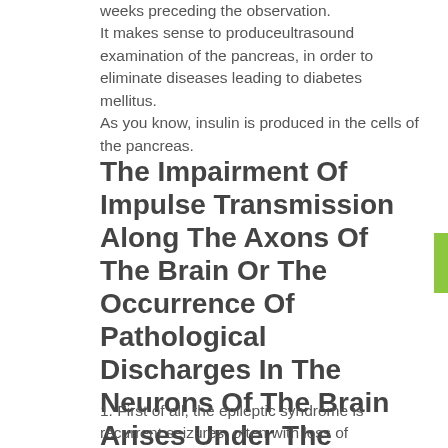weeks preceding the observation. It makes sense to produceultrasound examination of the pancreas, in order to eliminate diseases leading to diabetes mellitus. As you know, insulin is produced in the cells of the pancreas.
The Impairment Of Impulse Transmission Along The Axons Of The Brain Or The Occurrence Of Pathological Discharges In The Neurons Of The Brain Arises Under The Following Conditions:
1. First of all, the epileptic syndrome is recurrent seizures, often with loss of